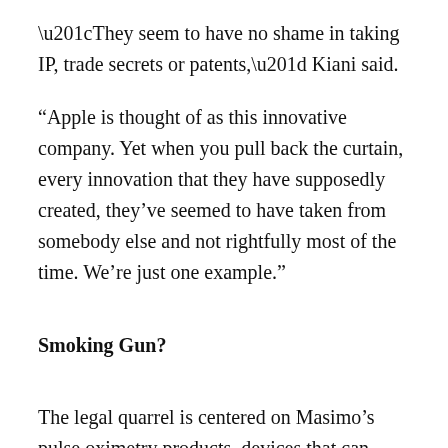“They seem to have no shame in taking IP, trade secrets or patents,” Kiani said.
“Apple is thought of as this innovative company. Yet when you pull back the curtain, every innovation that they have supposedly created, they’ve seemed to have taken from somebody else and not rightfully most of the time. We’re just one example.”
Smoking Gun?
The legal quarrel is centered on Masimo’s pulse oximetry products, devices that can precisely monitor a person’s blood for oxygen saturation levels, which is useful for tracking a variety of health issues.